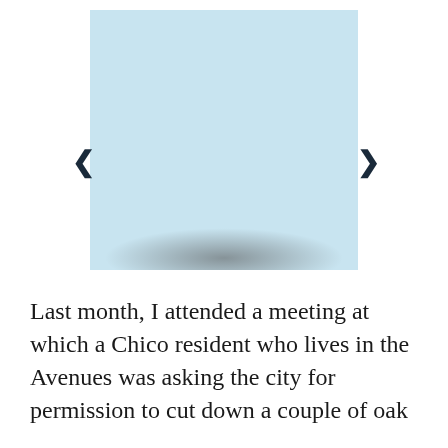[Figure (other): A light blue image placeholder box with navigation arrows (left chevron and right chevron) on either side, and a blurred shadow arc at the bottom of the box suggesting a partially visible image below.]
Last month, I attended a meeting at which a Chico resident who lives in the Avenues was asking the city for permission to cut down a couple of oak